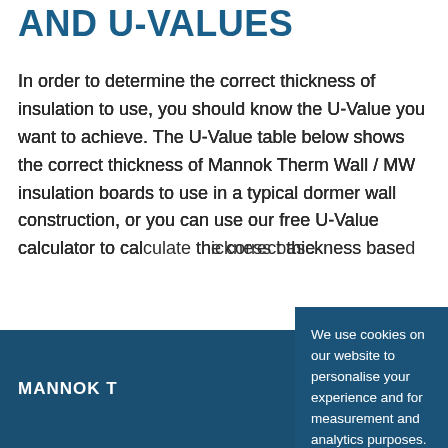AND U-VALUES
In order to determine the correct thickness of insulation to use, you should know the U-Value you want to achieve. The U-Value table below shows the correct thickness of Mannok Therm Wall / MW insulation boards to use in a typical dormer wall construction, or you can use our free U-Value calculator to calculate the correct thickness based
MANNOK T
We use cookies on our website to personalise your experience and for measurement and analytics purposes. By using our website and our services, you agree to our use of cookies as described in our Privacy Policy.
Accept and Close